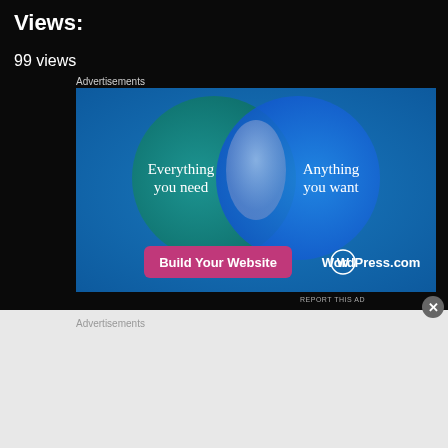Views:
99 views
Advertisements
[Figure (illustration): WordPress.com advertisement showing a Venn diagram with two overlapping circles on a blue-teal gradient background. Left circle shows 'Everything you need', right circle shows 'Anything you want'. Bottom has a pink 'Build Your Website' button and WordPress.com logo.]
REPORT THIS AD
Advertisements